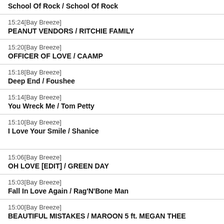School Of Rock / School Of Rock
15:24[Bay Breeze]
PEANUT VENDORS / RITCHIE FAMILY
15:20[Bay Breeze]
OFFICER OF LOVE / CAAMP
15:18[Bay Breeze]
Deep End / Foushee
15:14[Bay Breeze]
You Wreck Me / Tom Petty
15:10[Bay Breeze]
I Love Your Smile / Shanice
15:06[Bay Breeze]
OH LOVE [EDIT] / GREEN DAY
15:03[Bay Breeze]
Fall In Love Again / Rag'N'Bone Man
15:00[Bay Breeze]
BEAUTIFUL MISTAKES / MAROON 5 ft. MEGAN THEE